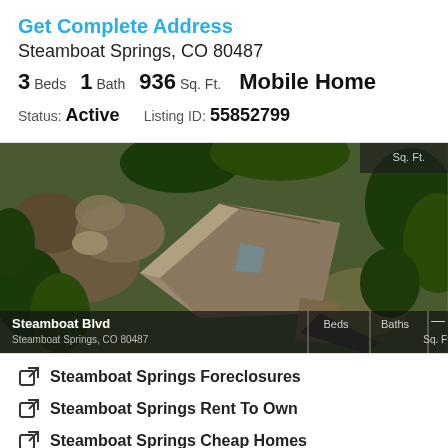Get Complete Address
Steamboat Springs, CO 80487
3 Beds  1 Bath  936 Sq. Ft.  Mobile Home
Status: Active   Listing ID: 55852799
[Figure (photo): Aerial/satellite view of a house with brown shingle roof surrounded by trees and rocky terrain. Overlay shows: Steamboat Blvd, Steamboat Springs, CO 80487, Beds, Baths, Sq. Ft.]
Steamboat Springs Foreclosures
Steamboat Springs Rent To Own
Steamboat Springs Cheap Homes